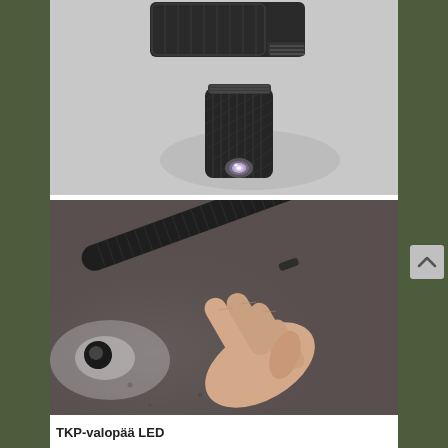[Figure (photo): Close-up photo of a black LED flashlight head (TKP-valopää LED) with knurled body separated from its cap, placed on a gray surface. The LED lens is visible glowing white/purple.]
[Figure (photo): Photo of a hand holding a black tactical pen-light/flashlight (TKP-valopää LED) with a knurled grip, shown in use against a dark metallic background with a light glow visible at the tip.]
TKP-valopää LED